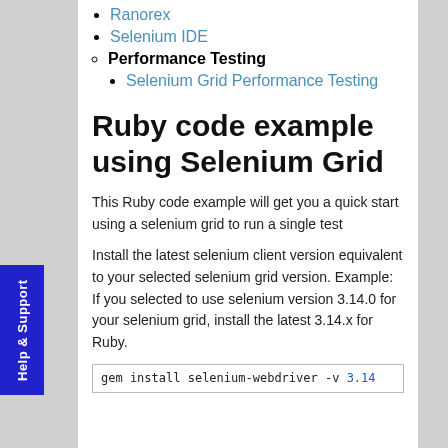Ranorex
Selenium IDE
Performance Testing
Selenium Grid Performance Testing
Ruby code example using Selenium Grid
This Ruby code example will get you a quick start using a selenium grid to run a single test
Install the latest selenium client version equivalent to your selected selenium grid version. Example: If you selected to use selenium version 3.14.0 for your selenium grid, install the latest 3.14.x for Ruby.
gem install selenium-webdriver -v 3.14